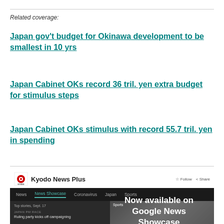Related coverage:
Japan gov't budget for Okinawa development to be smallest in 10 yrs
Japan Cabinet OKs record 36 tril. yen extra budget for stimulus steps
Japan Cabinet OKs stimulus with record 55.7 tril. yen in spending
[Figure (screenshot): Kyodo News Plus Google News Showcase promotional screenshot showing the Kyodo News Plus page on Google News with 'Now available on Google News Showcase' overlay text]